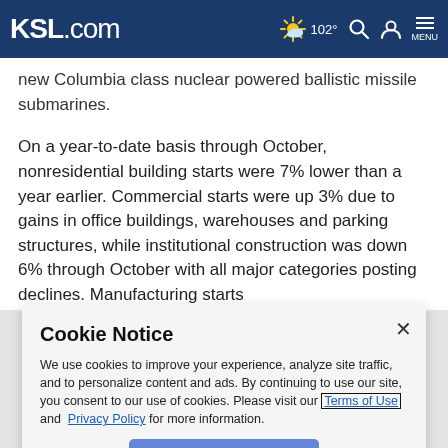KSL.com | 102° | Search | Account | Menu
new Columbia class nuclear powered ballistic missile submarines.
On a year-to-date basis through October, nonresidential building starts were 7% lower than a year earlier. Commercial starts were up 3% due to gains in office buildings, warehouses and parking structures, while institutional construction was down 6% through October with all major categories posting declines. Manufacturing starts
Cookie Notice
We use cookies to improve your experience, analyze site traffic, and to personalize content and ads. By continuing to use our site, you consent to our use of cookies. Please visit our Terms of Use and Privacy Policy for more information.
Continue